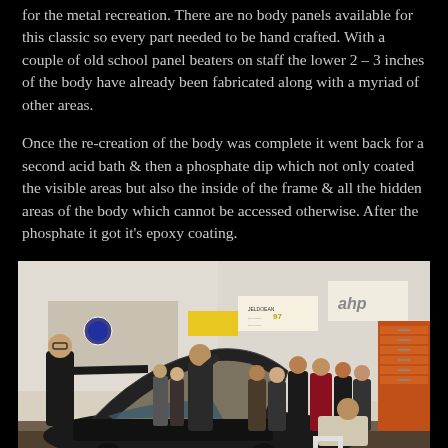for the metal recreation. There are no body panels available for this classic so every part needed to be hand crafted. With a couple of old school panel beaters on staff the lower 2 – 3 inches of the body have already been fabricated along with a myriad of other areas.
Once the re-creation of the body was complete it went back for a second acid bath & then a phosphate dip which not only coated the visible areas but also the inside of the frame & all the hidden areas of the body which cannot be accessed otherwise. After the phosphate it got it's epoxy coating.
[Figure (photo): People gathered in a workshop or showroom looking at a classic car with its hood open. A person in black is lifting the hood. Signs on the wall in the background including 'ahp' and other workshop signage.]